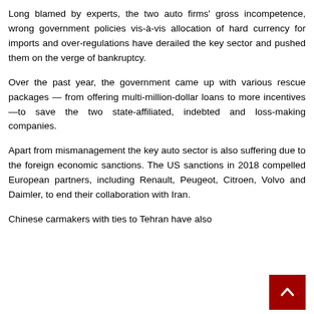Long blamed by experts, the two auto firms' gross incompetence, wrong government policies vis-à-vis allocation of hard currency for imports and over-regulations have derailed the key sector and pushed them on the verge of bankruptcy.
Over the past year, the government came up with various rescue packages — from offering multi-million-dollar loans to more incentives—to save the two state-affiliated, indebted and loss-making companies.
Apart from mismanagement the key auto sector is also suffering due to the foreign economic sanctions. The US sanctions in 2018 compelled European partners, including Renault, Peugeot, Citroen, Volvo and Daimler, to end their collaboration with Iran.
Chinese carmakers with ties to Tehran have also... joined